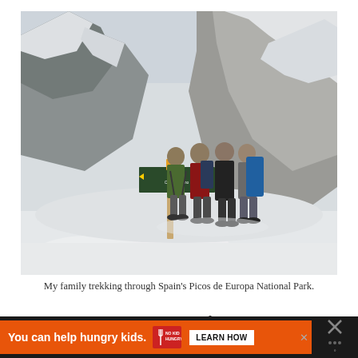[Figure (photo): Four people with hiking backpacks standing in snowy mountain terrain next to a wooden trail sign post, surrounded by snow-covered rocky mountains. Location is Picos de Europa National Park, Spain.]
My family trekking through Spain's Picos de Europa National Park.
That's the hardest lesson of raising children.